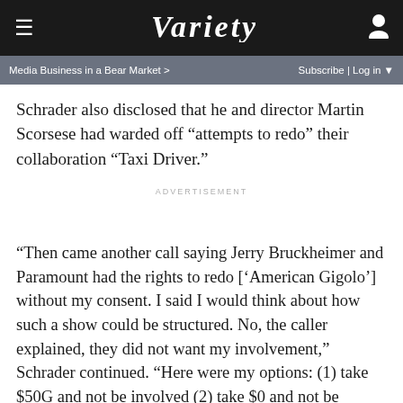VARIETY
Media Business in a Bear Market >    Subscribe | Log in ▼
Schrader also disclosed that he and director Martin Scorsese had warded off “attempts to redo” their collaboration “Taxi Driver.”
ADVERTISEMENT
“Then came another call saying Jerry Bruckheimer and Paramount had the rights to redo [‘American Gigolo’] without my consent. I said I would think about how such a show could be structured. No, the caller explained, they did not want my involvement,” Schrader continued. “Here were my options: (1) take $50G and not be involved (2) take $0 and not be involved (3) threaten an expensive and futile lawsuit and not be involved. I took the $50G.”